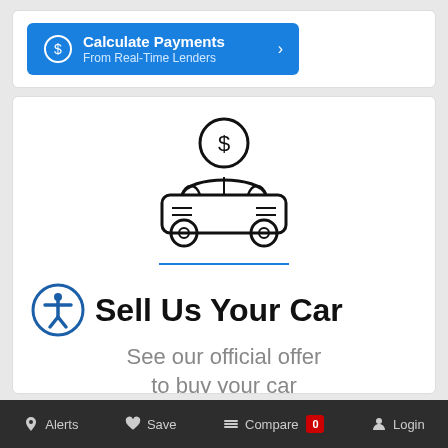[Figure (other): Blue button with dollar coin icon, text 'Calculate Payments' bold and 'From Real-Time Lenders' subtitle with a right chevron arrow]
[Figure (illustration): Line art illustration of a car with a dollar coin above it]
Sell Us Your Car
See our official offer to buy your car
Alerts   Save   Compare 0   Login